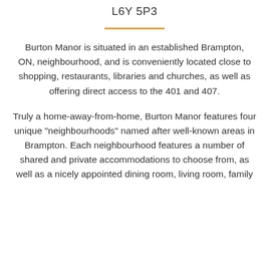L6Y 5P3
Burton Manor is situated in an established Brampton, ON, neighbourhood, and is conveniently located close to shopping, restaurants, libraries and churches, as well as offering direct access to the 401 and 407.
Truly a home-away-from-home, Burton Manor features four unique "neighbourhoods" named after well-known areas in Brampton. Each neighbourhood features a number of shared and private accommodations to choose from, as well as a nicely appointed dining room, living room, family room and more. Other amenities include…